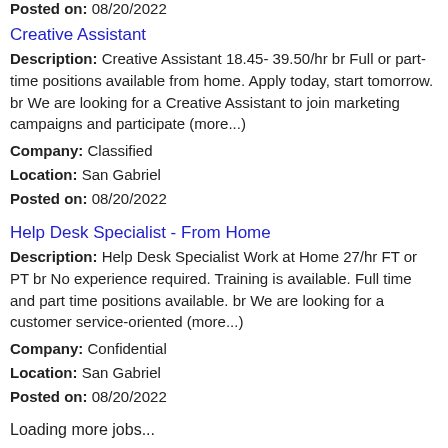Posted on: 08/20/2022
Creative Assistant
Description: Creative Assistant 18.45- 39.50/hr br Full or part-time positions available from home. Apply today, start tomorrow. br We are looking for a Creative Assistant to join marketing campaigns and participate (more...)
Company: Classified
Location: San Gabriel
Posted on: 08/20/2022
Help Desk Specialist - From Home
Description: Help Desk Specialist Work at Home 27/hr FT or PT br No experience required. Training is available. Full time and part time positions available. br We are looking for a customer service-oriented (more...)
Company: Confidential
Location: San Gabriel
Posted on: 08/20/2022
Loading more jobs...
Log In or Create An Account
Username: